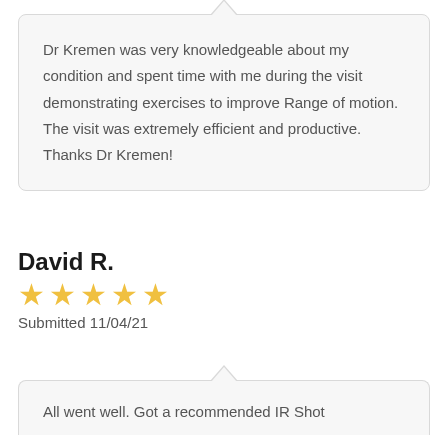Dr Kremen was very knowledgeable about my condition and spent time with me during the visit demonstrating exercises to improve Range of motion. The visit was extremely efficient and productive. Thanks Dr Kremen!
David R.
[Figure (other): 5 yellow stars rating]
Submitted 11/04/21
All went well. Got a recommended IR Shot